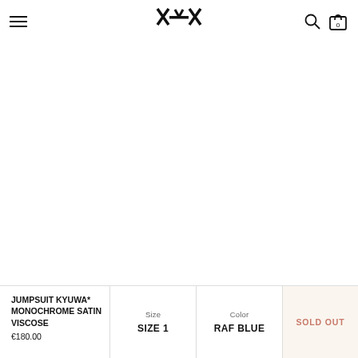Navigation header with hamburger menu, brand logo, search icon, and cart (0)
[Figure (photo): Product image area — white background, no visible product image loaded]
JUMPSUIT KYUWA* MONOCHROME SATIN VISCOSE
€180.00
Size
SIZE 1
Color
RAF BLUE
SOLD OUT